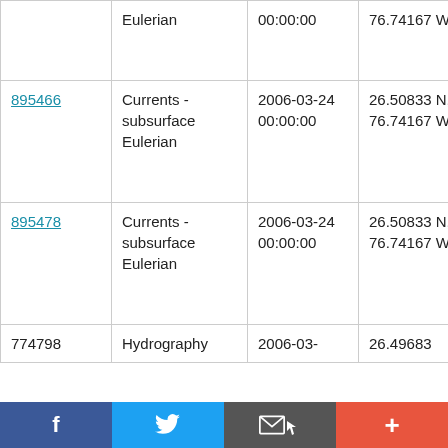| ID | Type | Date | Location | Platform |
| --- | --- | --- | --- | --- |
|  | Currents - subsurface Eulerian | 00:00:00 | 76.74167 W | Ronald H. Brown RB0602 |
| 895466 | Currents - subsurface Eulerian | 2006-03-24 00:00:00 | 26.50833 N, 76.74167 W | NOAA Ship Ronald H. Brown RB0602 |
| 895478 | Currents - subsurface Eulerian | 2006-03-24 00:00:00 | 26.50833 N, 76.74167 W | NOAA Ship Ronald H. Brown RB0602 |
| 774798 | Hydrography | 2006-03- | 26.49683 | NOAA |
Facebook | Twitter | Email | +